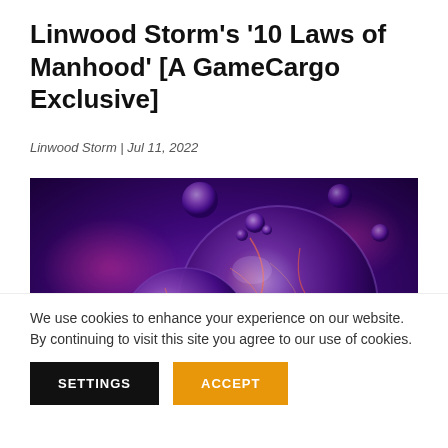Linwood Storm's '10 Laws of Manhood' [A GameCargo Exclusive]
Linwood Storm | Jul 11, 2022
[Figure (photo): Abstract 3D render of glowing purple and violet translucent orbs/spheres with glowing cracked surfaces against a purple and pink nebula-like background]
We use cookies to enhance your experience on our website. By continuing to visit this site you agree to our use of cookies.